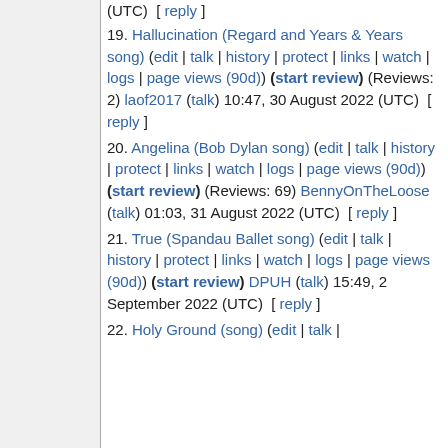(UTC) [ reply ]
19. Hallucination (Regard and Years & Years song) (edit | talk | history | protect | links | watch | logs | page views (90d)) (start review) (Reviews: 2) laof2017 (talk) 10:47, 30 August 2022 (UTC) [ reply ]
20. Angelina (Bob Dylan song) (edit | talk | history | protect | links | watch | logs | page views (90d)) (start review) (Reviews: 69) BennyOnTheLoose (talk) 01:03, 31 August 2022 (UTC) [ reply ]
21. True (Spandau Ballet song) (edit | talk | history | protect | links | watch | logs | page views (90d)) (start review) DPUH (talk) 15:49, 2 September 2022 (UTC) [ reply ]
22. Holy Ground (song) (edit | talk |